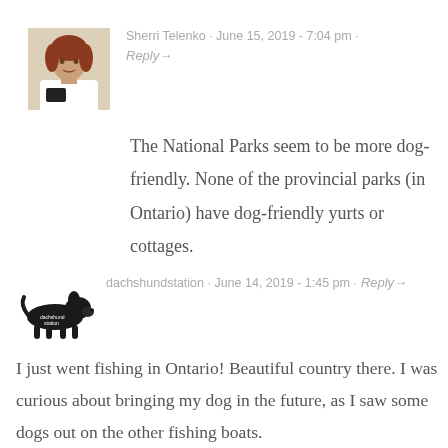Sherri Telenko · June 15, 2019 - 7:04 pm · Reply→
The National Parks seem to be more dog-friendly. None of the provincial parks (in Ontario) have dog-friendly yurts or cottages.
dachshundstation · June 14, 2019 - 1:45 pm · Reply→
I just went fishing in Ontario! Beautiful country there. I was curious about bringing my dog in the future, as I saw some dogs out on the other fishing boats.